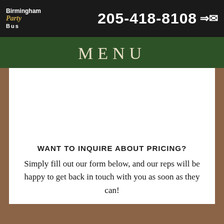Birmingham Party Bus  205-418-8108
MENU
WANT TO INQUIRE ABOUT PRICING?
Simply fill out our form below, and our reps will be happy to get back in touch with you as soon as they can!